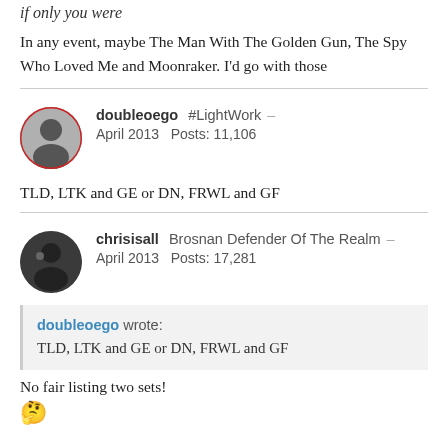if only you were
In any event, maybe The Man With The Golden Gun, The Spy Who Loved Me and Moonraker. I'd go with those
doubleoego  #LightWork  –
April 2013   Posts: 11,106
TLD, LTK and GE or DN, FRWL and GF
chrisisall  Brosnan Defender Of The Realm  –
April 2013   Posts: 17,281
doubleoego wrote:
TLD, LTK and GE or DN, FRWL and GF
No fair listing two sets!
[Figure (illustration): Emoji: face with hand on chin / thinking emoji]